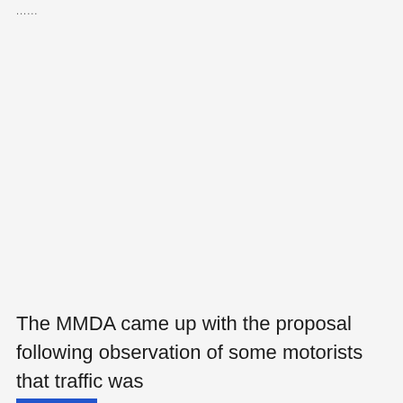......
The MMDA came up with the proposal following observation of some motorists that traffic was